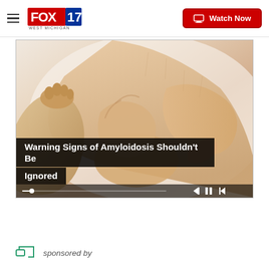FOX 17 WEST MICHIGAN — Watch Now
[Figure (photo): Video thumbnail showing hands pressing on a swollen ankle/foot area, white background. Medical content related to amyloidosis symptoms. Video player controls visible at bottom with progress bar.]
Warning Signs of Amyloidosis Shouldn't Be Ignored
sponsored by